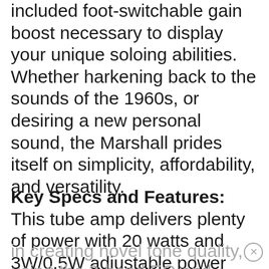included foot-switchable gain boost necessary to display your unique soloing abilities. Whether harkening back to the sounds of the 1960s, or desiring a new personal sound, the Marshall prides itself on simplicity, affordability, and versatility.
Key Specs and Features: This tube amp delivers plenty of power with 20 watts and 3W/0.5W adjustable power settings. This model contains 3 x ECC83 preamp tubes as well as 2 x EL34 power tubes. Utilizing all of its unique features in creating novel tone quality, consider using the 3-band EQ and distinct Tilt